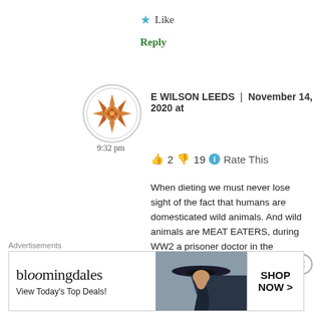★ Like
Reply
[Figure (illustration): Orange geometric snowflake/star pattern avatar in a circular frame]
E WILSON LEEDS | November 14, 2020 at 9:32 pm
👍 2 👎 19 ℹ Rate This
When dieting we must never lose sight of the fact that humans are domesticated wild animals. And wild animals are MEAT EATERS, during WW2 a prisoner doctor in the German Auschwitz death camp (over 1 million dead) studied his fellow prisoners and assessed them for health, energy and appearance, many thousands of them were "at death's door." There were some exceptions
[Figure (illustration): Bloomingdales advertisement banner: logo text, 'View Today's Top Deals!', woman in hat, SHOP NOW button]
Advertisements